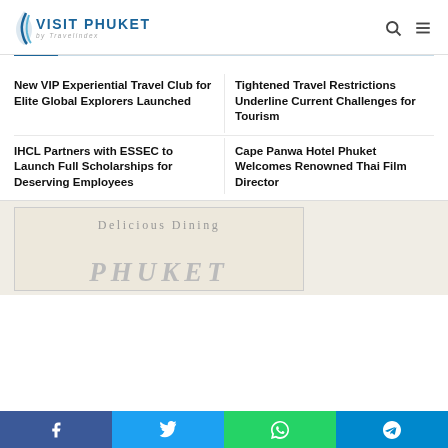VISIT PHUKET by Travelindex
New VIP Experiential Travel Club for Elite Global Explorers Launched
Tightened Travel Restrictions Underline Current Challenges for Tourism
IHCL Partners with ESSEC to Launch Full Scholarships for Deserving Employees
Cape Panwa Hotel Phuket Welcomes Renowned Thai Film Director
[Figure (illustration): Delicious Dining Phuket promotional banner image with script text]
Facebook | Twitter | WhatsApp | Telegram social share bar